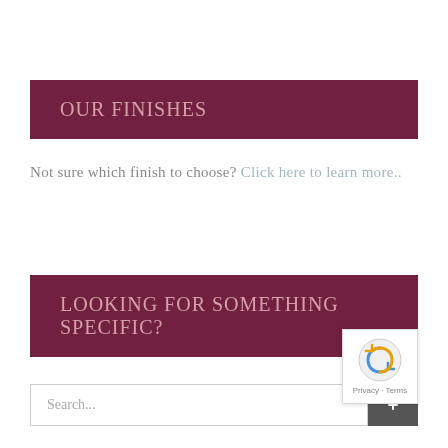OUR FINISHES
Not sure which finish to choose? Click here to learn more..
LOOKING FOR SOMETHING SPECIFIC?
Search...